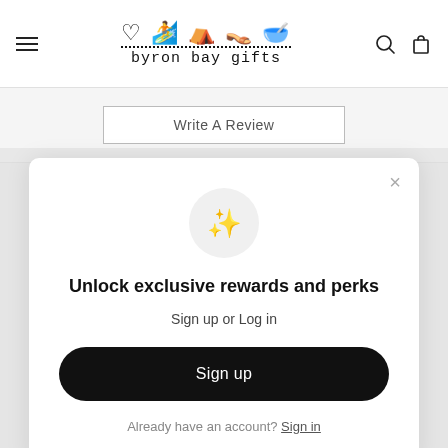byron bay gifts — navigation header with logo, hamburger menu, search and cart icons
Write A Review
[Figure (screenshot): Modal popup with sparkles icon, 'Unlock exclusive rewards and perks' heading, 'Sign up or Log in' subtitle, Sign up button, and 'Already have an account? Sign in' footer link]
Unlock exclusive rewards and perks
Sign up or Log in
Sign up
Already have an account? Sign in